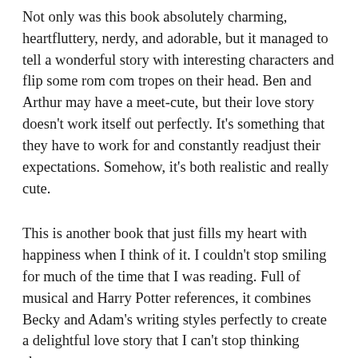Not only was this book absolutely charming, heartfluttery, nerdy, and adorable, but it managed to tell a wonderful story with interesting characters and flip some rom com tropes on their head. Ben and Arthur may have a meet-cute, but their love story doesn't work itself out perfectly. It's something that they have to work for and constantly readjust their expectations. Somehow, it's both realistic and really cute.
This is another book that just fills my heart with happiness when I think of it. I couldn't stop smiling for much of the time that I was reading. Full of musical and Harry Potter references, it combines Becky and Adam's writing styles perfectly to create a delightful love story that I can't stop thinking about.
An Absolutely